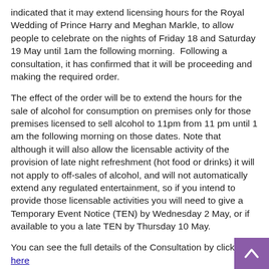indicated that it may extend licensing hours for the Royal Wedding of Prince Harry and Meghan Markle, to allow people to celebrate on the nights of Friday 18 and Saturday 19 May until 1am the following morning.  Following a consultation, it has confirmed that it will be proceeding and making the required order.
The effect of the order will be to extend the hours for the sale of alcohol for consumption on premises only for those premises licensed to sell alcohol to 11pm from 11 pm until 1 am the following morning on those dates. Note that although it will also allow the licensable activity of the provision of late night refreshment (hot food or drinks) it will not apply to off-sales of alcohol, and will not automatically extend any regulated entertainment, so if you intend to provide those licensable activities you will need to give a Temporary Event Notice (TEN) by Wednesday 2 May, or if available to you a late TEN by Thursday 10 May.
You can see the full details of the Consultation by clicking here